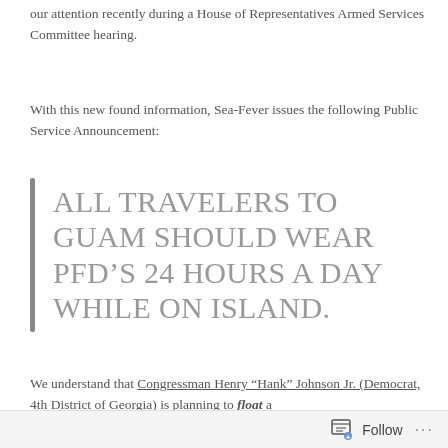our attention recently during a House of Representatives Armed Services Committee hearing.
With this new found information, Sea-Fever issues the following Public Service Announcement:
All travelers to Guam should wear PFD’s 24 hours a day while on island.
We understand that Congressman Henry “Hank” Johnson Jr. (Democrat, 4th District of Georgia) is planning to float a
Follow